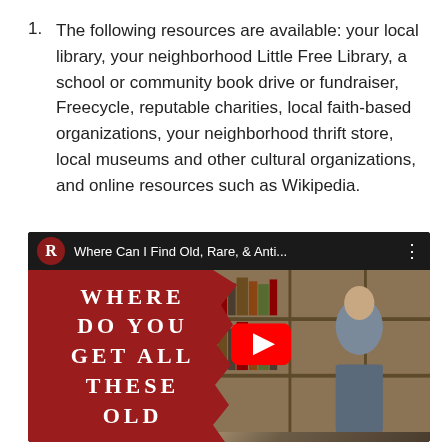The following resources are available: your local library, your neighborhood Little Free Library, a school or community book drive or fundraiser, Freecycle, reputable charities, local faith-based organizations, your neighborhood thrift store, local museums and other cultural organizations, and online resources such as Wikipedia.
[Figure (screenshot): YouTube video thumbnail titled 'Where Can I Find Old, Rare, & Anti...' showing a red background with text 'WHERE DO YOU GET ALL THESE OLD' in large serif letters on the left, and a man sitting in front of bookshelves on the right, with a YouTube play button overlay.]